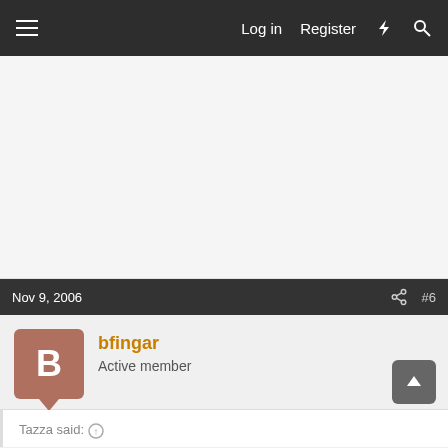Log in  Register
Nov 9, 2006  #6
bfingar
Active member
Tazza said: